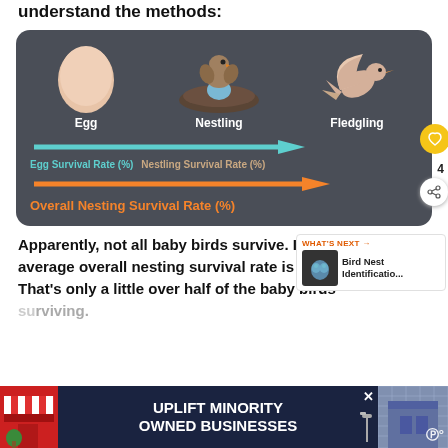understand the methods:
[Figure (infographic): Infographic on a dark grey background showing three bird life stages (Egg, Nestling, Fledgling) with arrows illustrating Egg Survival Rate (%), Nestling Survival Rate (%), and Overall Nesting Survival Rate (%).]
Apparently, not all baby birds survive. In fact, the average overall nesting survival rate is only 36.3%. That's only a little over half of the baby birds surviving.
[Figure (infographic): WHAT'S NEXT: Bird Nest Identificatio... thumbnail with bird eggs image]
[Figure (infographic): Advertisement banner: UPLIFT MINORITY OWNED BUSINESSES]